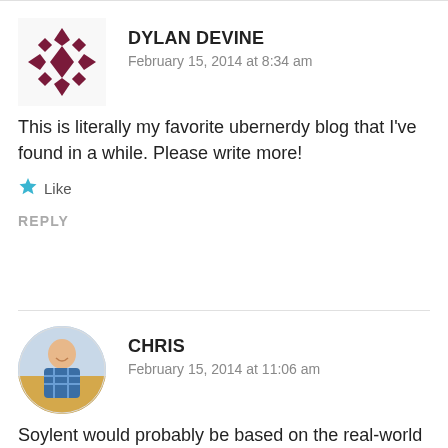[Figure (illustration): Avatar for Dylan Devine: a decorative geometric pattern with dark red/maroon diamond shapes arranged in a star/snowflake pattern]
DYLAN DEVINE
February 15, 2014 at 8:34 am
This is literally my favorite ubernerdy blog that I've found in a while. Please write more!
Like
REPLY
[Figure (photo): Circular profile photo of Chris, a man smiling, wearing a blue plaid shirt outdoors]
CHRIS
February 15, 2014 at 11:06 am
Soylent would probably be based on the real-world product of the same name (which is an